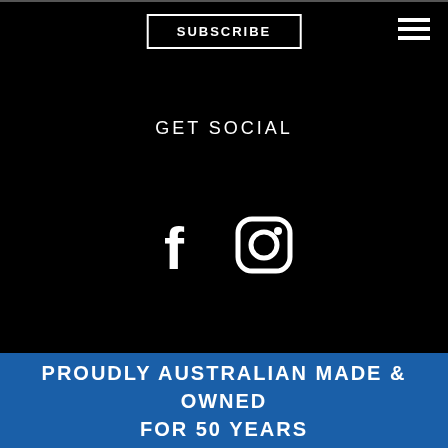SUBSCRIBE
GET SOCIAL
[Figure (illustration): Facebook and Instagram social media icons in white on black background]
Copyright 2022 Nordic Design. All rights reserved
PROUDLY AUSTRALIAN MADE & OWNED FOR 50 YEARS